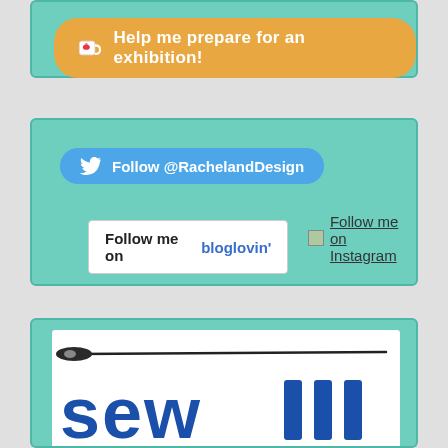[Figure (infographic): Ko-fi button: orange rounded button with coffee cup icon and text 'Help me prepare for an exhibition!' on a teal background box]
[Figure (infographic): Social media follow buttons on teal background: Twitter follow button (@RachelandDesign), Bloglovin follow button, and Instagram follow link with broken image placeholder]
[Figure (illustration): White box with sewing needle illustration at top and partial blue distressed text reading 'sew' at bottom, inside a teal bordered box]